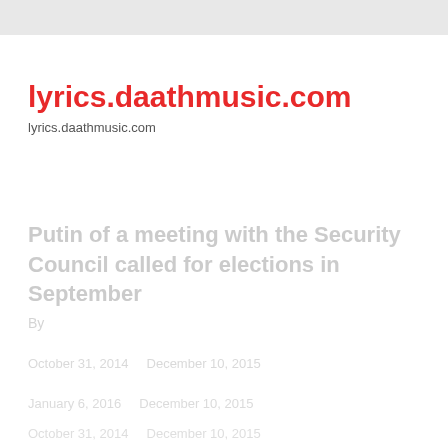[Figure (other): Gray top bar / browser chrome strip at the top of the page]
lyrics.daathmusic.com
lyrics.daathmusic.com
Putin of a meeting with the Security Council called for elections in September
By
October 31, 2014
January 6, 2016 December 10, 2015
October 31, 2014 December 10, 2015